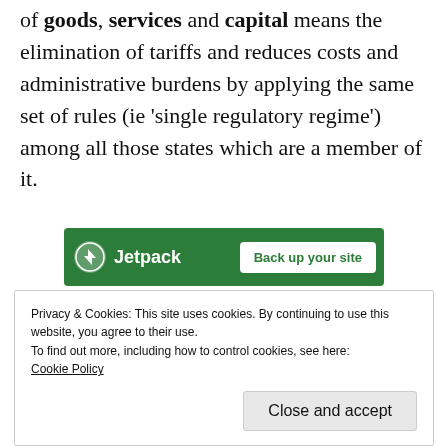Free movement of goods, services and capital means the elimination of tariffs and reduces costs and administrative burdens by applying the same set of rules (ie 'single regulatory regime') among all those states which are a member of it.
[Figure (other): Jetpack advertisement banner with green background, lightning bolt icon, brand name 'Jetpack', and white button 'Back up your site']
Privacy & Cookies: This site uses cookies. By continuing to use this website, you agree to their use.
To find out more, including how to control cookies, see here:
Cookie Policy